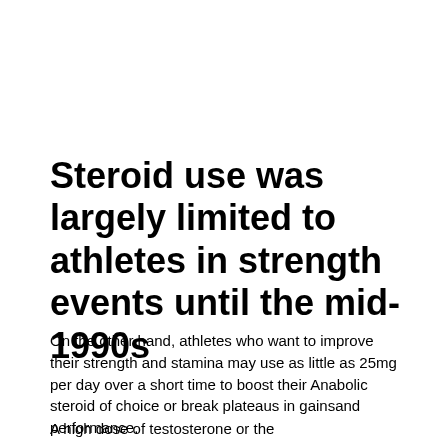Steroid use was largely limited to athletes in strength events until the mid-1990s
On the other hand, athletes who want to improve their strength and stamina may use as little as 25mg per day over a short time to boost their Anabolic steroid of choice or break plateaus in gainsand performance.
A high dose of testosterone or the